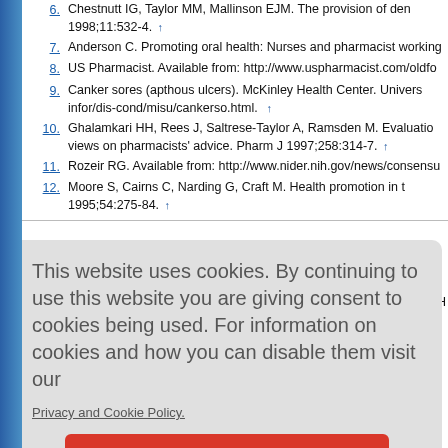6. Chestnutt IG, Taylor MM, Mallinson EJM. The provision of den... 1998;11:532-4. ↑
7. Anderson C. Promoting oral health: Nurses and pharmacist working...
8. US Pharmacist. Available from: http://www.uspharmacist.com/oldfo...
9. Canker sores (apthous ulcers). McKinley Health Center. Univers... infor/dis-cond/misu/cankerso.html. ↑
10. Ghalamkari HH, Rees J, Saltrese-Taylor A, Ramsden M. Evaluatio... views on pharmacists' advice. Pharm J 1997;258:314-7. ↑
11. Rozeir RG. Available from: http://www.nider.nih.gov/news/consensu...
12. Moore S, Cairns C, Narding G, Craft M. Health promotion in t... 1995;54:275-84. ↑
This website uses cookies. By continuing to use this website you are giving consent to cookies being used. For information on cookies and how you can disable them visit our
Privacy and Cookie Policy.
AGREE & PROCEED